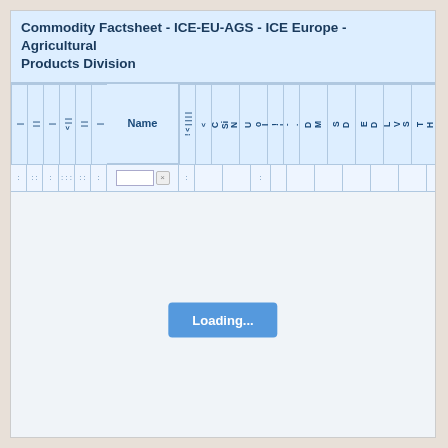Commodity Factsheet - ICE-EU-AGS - ICE Europe - Agricultural Products Division
[Figure (screenshot): Web application table interface showing column headers for a commodity factsheet with rotated column labels including: Name, Co, Si, Uo, N, -, D, M, S, D, E, D, L, V, S, T, H, La, To, Vo. A filter row is shown with a text input box and X button. The main content area shows a Loading... button centered in a light blue empty area.]